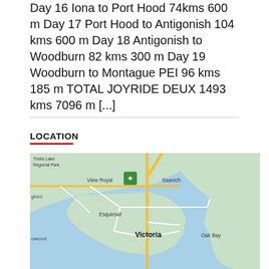Day 16 Iona to Port Hood 74kms 600 m Day 17 Port Hood to Antigonish 104 kms 600 m Day 18 Antigonish to Woodburn 82 kms 300 m Day 19 Woodburn to Montague PEI 96 kms 185 m TOTAL JOYRIDE DEUX 1493 kms 7096 m [...]
LOCATION
[Figure (map): Map of Victoria, BC area showing View Royal, Saanich, Esquimalt, Victoria, Oak Bay, and surrounding areas including Thetis Lake Regional Park and water bodies.]